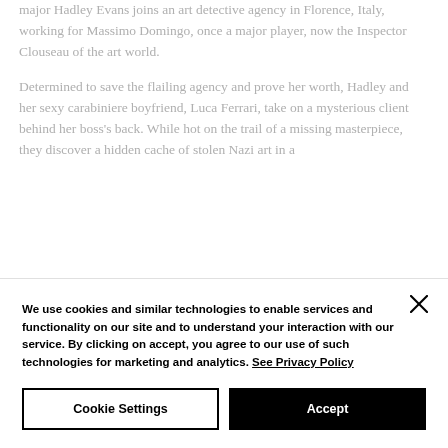major Hadley Evans joins an art detective agency in Florence, Italy, working for Massimo Domingo, once a major player, now the Inspector Clouseau of the art world.
Determined to save the flailing agency and prove her worth, Hadley and her sexy carabiniere boyfriend, Luca Ferrari, take on a mysterious client behind her boss's back. While hot on the trail of a missing masterpiece, they discover a hidden cache of stolen Nazi art in a
We use cookies and similar technologies to enable services and functionality on our site and to understand your interaction with our service. By clicking on accept, you agree to our use of such technologies for marketing and analytics. See Privacy Policy
Cookie Settings
Accept